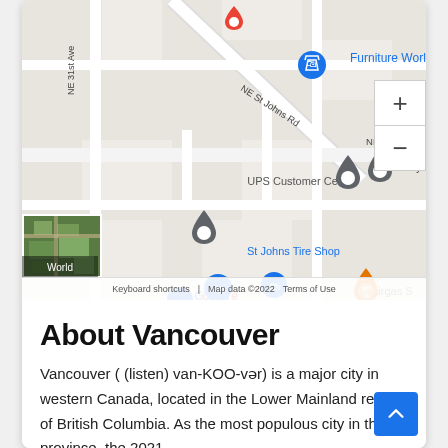[Figure (map): Google Maps screenshot showing area near NE 68th St, Portland. Shows Furniture World NW, UPS Customer Center, St Johns Tire Shop, Ghost Runners Brewery and Kitchen, Trus-Way, Airgas, and other locations. Includes zoom controls, satellite thumbnail, and Google branding with map data copyright 2022.]
About Vancouver
Vancouver ( (listen) van-KOO-vər) is a major city in western Canada, located in the Lower Mainland region of British Columbia. As the most populous city in the province, the 2021